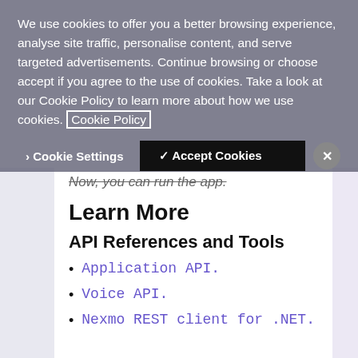We use cookies to offer you a better browsing experience, analyse site traffic, personalise content, and serve targeted advertisements. Continue browsing or choose accept if you agree to the use of cookies. Take a look at our Cookie Policy to learn more about how we use cookies. Cookie Policy
Cookie Settings | ✓ Accept Cookies | X
Now, you can run the app.
Learn More
API References and Tools
Application API.
Voice API.
Nexmo REST client for .NET.